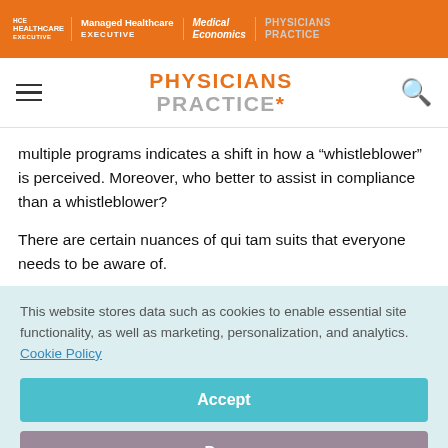HCE HEALTHCARE EXECUTIVE | Managed Healthcare EXECUTIVE | Medical Economics | PHYSICIANS PRACTICE
PHYSICIANS PRACTICE
multiple programs indicates a shift in how a "whistleblower" is perceived. Moreover, who better to assist in compliance than a whistleblower?
There are certain nuances of qui tam suits that everyone needs to be aware of.
This website stores data such as cookies to enable essential site functionality, as well as marketing, personalization, and analytics. Cookie Policy
Accept
Deny